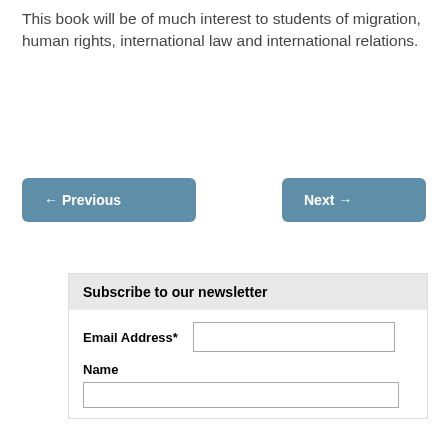This book will be of much interest to students of migration, human rights, international law and international relations.
← Previous
Next →
Subscribe to our newsletter
Email Address*
Name